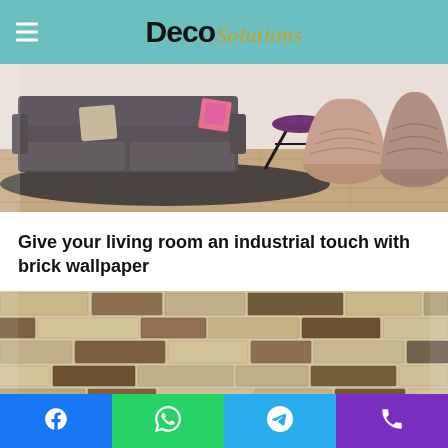Deco Solutions
[Figure (photo): Living room interior with dark grey sofa, patterned cushions, black metal side table, wooden floor, and large decorative vases]
Give your living room an industrial touch with brick wallpaper
[Figure (photo): Close-up of brick wallpaper with beige and brown tones, showing layered stone/brick texture]
Facebook | WhatsApp | Telegram | Phone